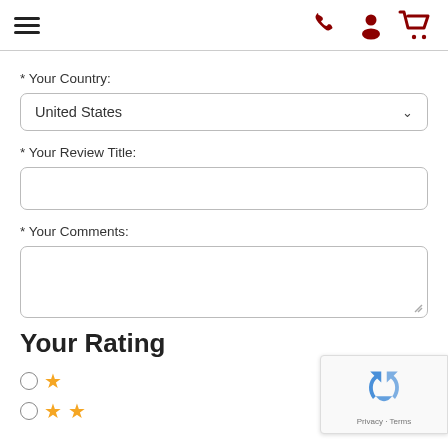Navigation header with hamburger menu and icons (phone, user, cart)
* Your Country:
United States
* Your Review Title:
* Your Comments:
Your Rating
1 star rating option (radio button with 1 star)
2 star rating option (radio button with 2 stars)